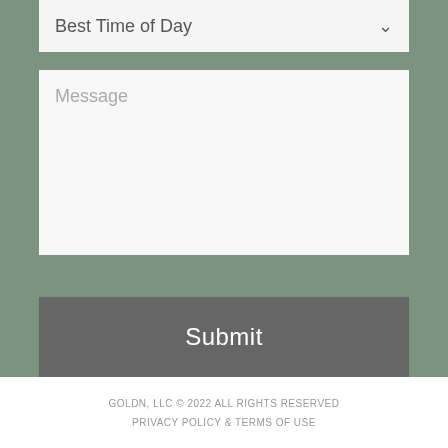[Figure (screenshot): Dropdown form field labeled 'Best Time of Day' with a downward chevron arrow on a light gray background]
[Figure (screenshot): Text area form field with placeholder text 'Message' on a near-white background]
Submit
GOLDN, LLC © 2022 ALL RIGHTS RESERVED
PRIVACY POLICY & TERMS OF USE